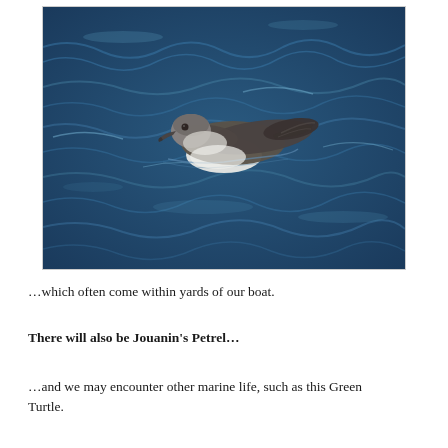[Figure (photo): A seabird (shearwater or petrel) floating on deep blue ocean water, viewed from above. The bird has a grey-brown body with white underparts and a hooked beak.]
…which often come within yards of our boat.
There will also be Jouanin's Petrel…
…and we may encounter other marine life, such as this Green Turtle.